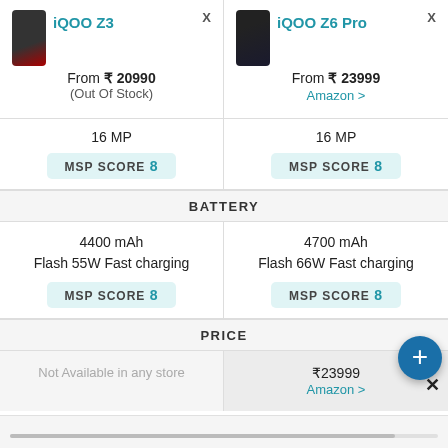iQOO Z3
iQOO Z6 Pro
From ₹ 20990 (Out Of Stock)
From ₹ 23999 Amazon >
16 MP
MSP SCORE 8
16 MP
MSP SCORE 8
BATTERY
4400 mAh
Flash 55W Fast charging
MSP SCORE 8
4700 mAh
Flash 66W Fast charging
MSP SCORE 8
PRICE
Not Available in any store
₹23999
Amazon >